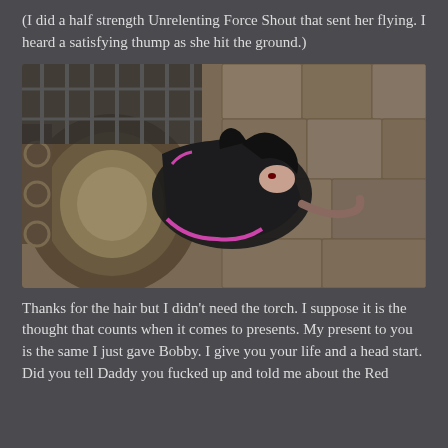(I did a half strength Unrelenting Force Shout that sent her flying. I heard a satisfying thump as she hit the ground.)
[Figure (screenshot): A video game screenshot showing a female character with dark hair wearing a black and pink dress, lying on the stone floor near a spiral staircase with ornate decorations. Stone walls and a metal gate visible in the background.]
Thanks for the hair but I didn't need the torch. I suppose it is the thought that counts when it comes to presents. My present to you is the same I just gave Bobby. I give you your life and a head start. Did you tell Daddy you fucked up and told me about the Red